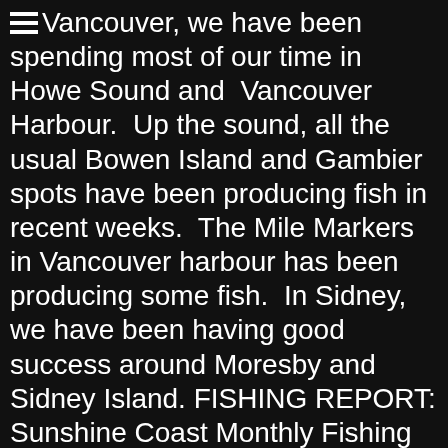Vancouver, we have been spending most of our time in Howe Sound andÂ  Vancouver Harbour.Â  Up the sound, all the usual Bowen Island and Gambier spots have been producing fish in recent weeks.Â  The Mile Markers in Vancouver harbour has been producing some fish.Â  In Sidney, we have been having good success around Moresby and Sidney Island. FISHING REPORT: Sunshine Coast Monthly Fishing Report. Filters. Day in and day out, there is a good consistent bite in many local hot spots. 2020-2021 Sport Fishing Regulations Supplement (PDF) Regulations effective through February 28, 2021 unless otherwise noted This is the annual supplement that contains freshwater salmon and trout fishing information. Our Story - Our Editors & Contributors - Our Supporters - Search Site - Our Facebook Page - Our Tweets - Our YouTube Channel, Our Services Lake Russell. British Columbia has over 20,000 lakes and 750,000